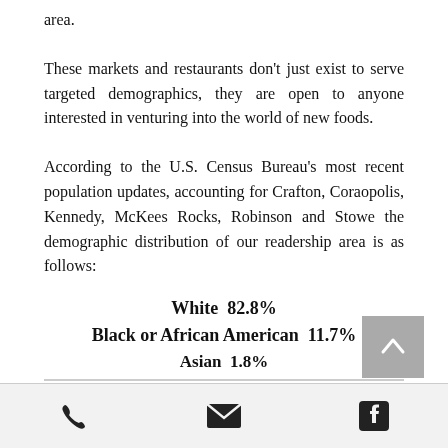area.
These markets and restaurants don't just exist to serve targeted demographics, they are open to anyone interested in venturing into the world of new foods.
According to the U.S. Census Bureau's most recent population updates, accounting for Crafton, Coraopolis, Kennedy, McKees Rocks, Robinson and Stowe the demographic distribution of our readership area is as follows:
White  82.8%
Black or African American  11.7%
Asian  1.8%
phone | email | facebook